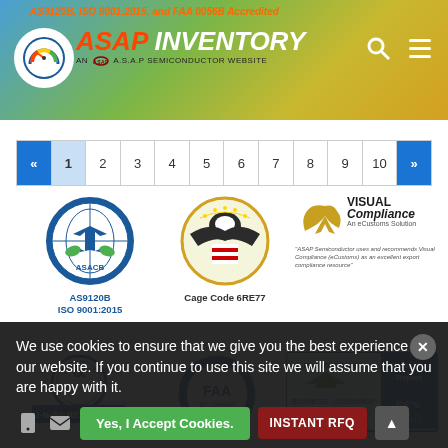AS9120B, ISO 9001:2015, and FAA 0056B Accredited
[Figure (logo): ASAP Inventory logo with circular emblem and 'AN A.S.A.P SEMICONDUCTOR WEBSITE' subtitle]
[Figure (infographic): Pagination bar with buttons: « 1 2 3 4 5 6 7 8 9 10 »]
[Figure (logo): ASACB certification badge - AS9120B ISO 9001:2015]
[Figure (logo): Cage Code 6RE77 government seal]
[Figure (logo): Visual Compliance - An eCustoms Solution logo with quote]
[Figure (logo): Dun & Bradstreet D-U-N-S Registered badge]
[Figure (logo): FAA AC-0056B Certified Company badge]
[Figure (logo): Business Consumer Alliance Proud Member - Rating: AAA]
We use cookies to ensure that we give you the best experience on our website. If you continue to use this site we will assume that you are happy with it.